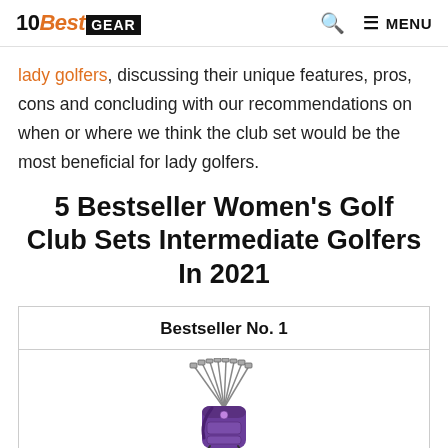10BestGEAR — search — MENU
lady golfers, discussing their unique features, pros, cons and concluding with our recommendations on when or where we think the club set would be the most beneficial for lady golfers.
5 Bestseller Women's Golf Club Sets Intermediate Golfers In 2021
Bestseller No. 1
[Figure (photo): Women's golf club set with purple bag and multiple clubs fanned out at top]